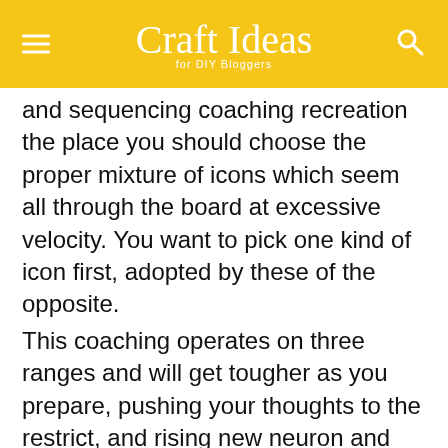Craft Ideas for DIY Bloggers
and sequencing coaching recreation the place you should choose the proper mixture of icons which seem all through the board at excessive velocity. You want to pick one kind of icon first, adopted by these of the opposite.
This coaching operates on three ranges and will get tougher as you prepare, pushing your thoughts to the restrict, and rising new neuron and glial cell connections within the course of. As the sport progresses, as much as four icons can seem on the board that means you should kind and filter between these to multi-task, prioritise and proceed within the recreation.
This is a enjoyable recreation that may assist the entire household enhance their psychological